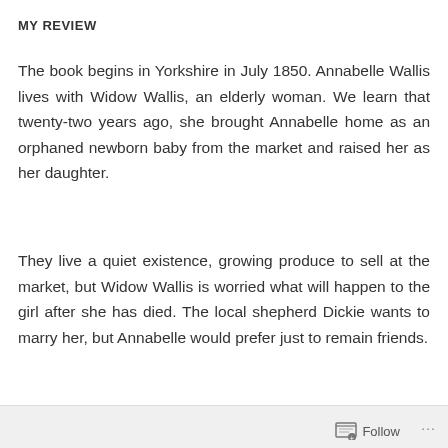MY REVIEW
The book begins in Yorkshire in July 1850. Annabelle Wallis lives with Widow Wallis, an elderly woman. We learn that twenty-two years ago, she brought Annabelle home as an orphaned newborn baby from the market and raised her as her daughter.
They live a quiet existence, growing produce to sell at the market, but Widow Wallis is worried what will happen to the girl after she has died. The local shepherd Dickie wants to marry her, but Annabelle would prefer just to remain friends.
John Hartley returns to Hartley Manor after seven years